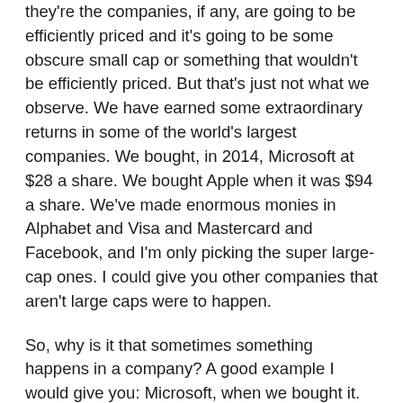they're the companies, if any, are going to be efficiently priced and it's going to be some obscure small cap or something that wouldn't be efficiently priced. But that's just not what we observe. We have earned some extraordinary returns in some of the world's largest companies. We bought, in 2014, Microsoft at $28 a share. We bought Apple when it was $94 a share. We've made enormous monies in Alphabet and Visa and Mastercard and Facebook, and I'm only picking the super large-cap ones. I could give you other companies that aren't large caps were to happen.
So, why is it that sometimes something happens in a company? A good example I would give you: Microsoft, when we bought it. They clearly missed the shift to mobile. And people thought that Windows operating system was dead and was being priced for that. And we saw something very different about the company...